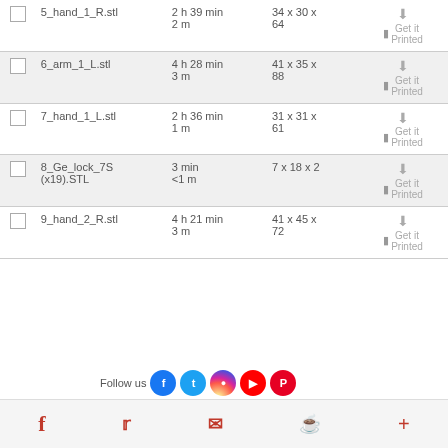|  | Name | Time | Dimensions | Actions |
| --- | --- | --- | --- | --- |
| ☐ | 5_hand_1_R.stl | 2 h 39 min 2 m | 34 x 30 x 64 | ↓ Get it Printed |
| ☐ | 6_arm_1_L.stl | 4 h 28 min 3 m | 41 x 35 x 88 | ↓ Get it Printed |
| ☐ | 7_hand_1_L.stl | 2 h 36 min 1 m | 31 x 31 x 61 | ↓ Get it Printed |
| ☐ | 8_Ge_lock_7S (x19).STL | 3 min <1 m | 7 x 18 x 2 | ↓ Get it Printed |
| ☐ | 9_hand_2_R.stl | 4 h 21 min 3 m | 41 x 45 x 72 | ↓ Get it Printed |
[Figure (infographic): Follow us social media overlay with Facebook, Twitter, Instagram, YouTube, Pinterest icons]
Social media footer bar with Facebook, Twitter, Email, Pinterest, More icons